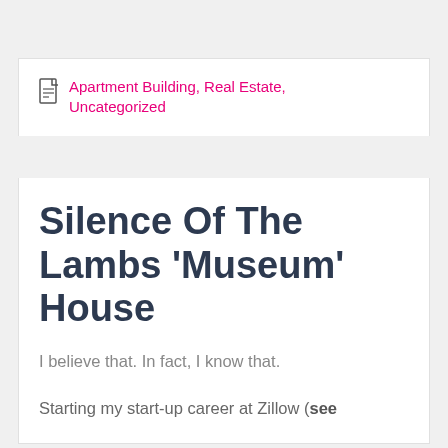Apartment Building, Real Estate, Uncategorized
Silence Of The Lambs ‘Museum’ House
I believe that. In fact, I know that.
Starting my start-up career at Zillow (see